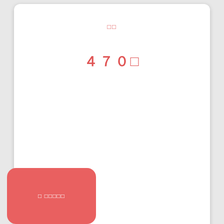□□
４７０□
[Figure (other): Red rounded rectangle button with white text '□ □□□□']
□□□□□□□□□□□□
□□□□□□□□□□□□□□
□□□□□□□□□□□□□